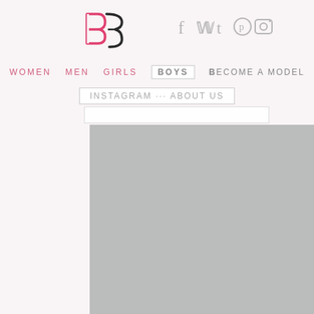[Figure (logo): Stylized double-B or mirror-B logo in dark charcoal/black with pink accent, geometric interlocking letters]
[Figure (infographic): Social media icons: Facebook (f), Twitter (bird), Tumblr (t), Pinterest (circle with p), Instagram (camera) in gray]
WOMEN   MEN   GIRLS   BOYS   BECOME A MODEL
INSTAGRAM   ABOUT US
[Figure (photo): Large gray placeholder image occupying the lower right portion of the page, representing a model photo]